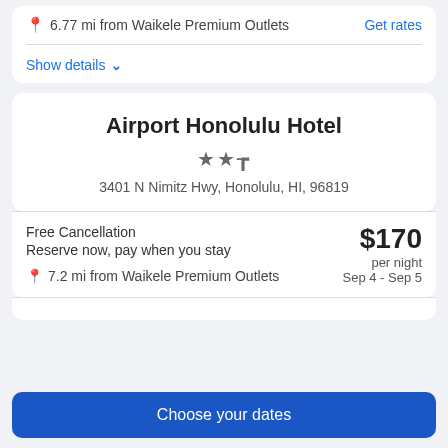6.77 mi from Waikele Premium Outlets
Get rates
Show details
Airport Honolulu Hotel
3401 N Nimitz Hwy, Honolulu, HI, 96819
Free Cancellation
Reserve now, pay when you stay
$170 per night Sep 4 - Sep 5
7.2 mi from Waikele Premium Outlets
Choose your dates